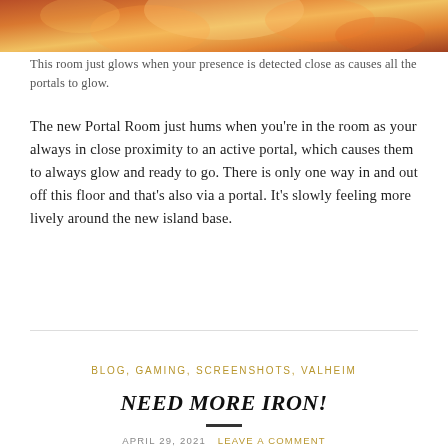[Figure (photo): Glowing orange and red fantasy portal room screenshot from Valheim]
This room just glows when your presence is detected close as causes all the portals to glow.
The new Portal Room just hums when you’re in the room as your always in close proximity to an active portal, which causes them to always glow and ready to go. There is only one way in and out off this floor and that’s also via a portal. It’s slowly feeling more lively around the new island base.
BLOG, GAMING, SCREENSHOTS, VALHEIM
NEED MORE IRON!
APRIL 29, 2021   LEAVE A COMMENT